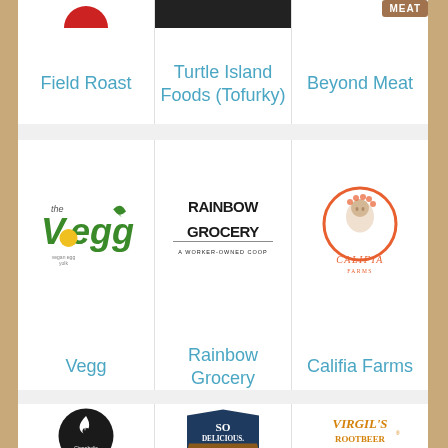Field Roast
Turtle Island Foods (Tofurky)
Beyond Meat
[Figure (logo): The Vegg logo - vegan egg yolk brand with green leaf]
[Figure (logo): Rainbow Grocery - A Worker-Owned Coop logo]
[Figure (logo): Califia Farms logo with woman illustration in orange circle]
Vegg
Rainbow Grocery
Califia Farms
[Figure (logo): Cinnaholic logo - black circle with white bird]
[Figure (logo): So Delicious Dairy Free logo]
[Figure (logo): Virgil's Root Beer logo]